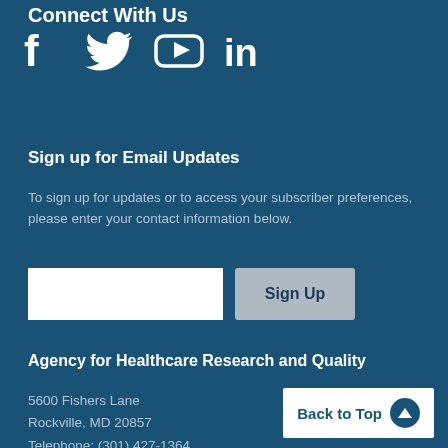Connect With Us
[Figure (illustration): Social media icons: Facebook, Twitter, YouTube, LinkedIn — white icons on dark blue background]
Sign up for Email Updates
To sign up for updates or to access your subscriber preferences, please enter your contact information below.
[Figure (other): Email input field and Sign Up button]
Agency for Healthcare Research and Quality
5600 Fishers Lane
Rockville, MD 20857
Telephone: (301) 427-1364